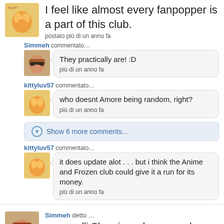kittyluv57 detto … I feel like almost every fanpopper is a part of this club. postato più di un anno fa
Simmeh commentato… They practically are! :D più di un anno fa
kittyluv57 commentato… who doesnt Amore being random, right? più di un anno fa
Show 6 more comments...
kittyluv57 commentato… it does update alot . . . but i think the Anime and Frozen club could give it a run for its money. più di un anno fa
Simmeh detto … pennarelli Sharpie and expo markers smell good...